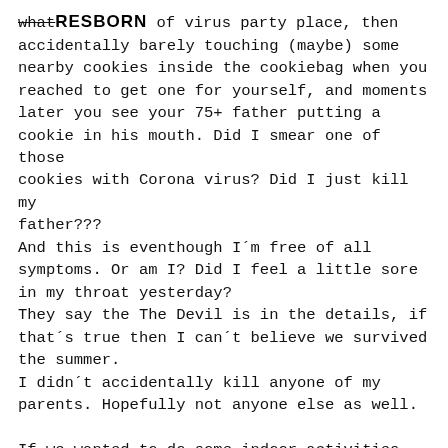what [RESBORN] of virus party place, then accidentally barely touching (maybe) some nearby cookies inside the cookiebag when you reached to get one for yourself, and moments later you see your 75+ father putting a cookie in his mouth. Did I smear one of those cookies with Corona virus? Did I just kill my father???
And this is eventhough I´m free of all symptoms. Or am I? Did I feel a little sore in my throat yesterday?
They say the The Devil is in the details, if that´s true then I can´t believe we survived the summer.
I didn´t accidentally kill anyone of my parents. Hopefully not anyone else as well.

If we wanted to do some indoor activities